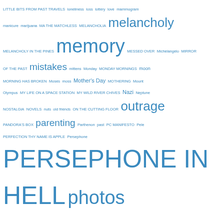[Figure (infographic): Tag cloud with words of varying sizes in blue, representing topics/categories from a blog or website, arranged in a word-cloud style layout. Words include: LITTLE BITS FROM PAST TRAVELS, loneliness, loss, lottery, love, mammogram, manicure, marijuana, MA THE MATCHLESS, MELANCHOLIA, melancholy, MELANCHOLY IN THE PINES, memory, MESSED OVER, Michelangelo, MIRROR OF THE PAST, mistakes, mittens, Monday, MONDAY MORNINGS, moon, MORNING HAS BROKEN, Moses, moss, Mother's Day, MOTHERING, Mount Olympus, MY LIFE ON A SPACE STATION, MY WILD RIVER CHIVES, Nazi, Neptune, NOSTALGIA, NOVELS, nuts, old friends, ON THE CUTTING FLOOR, outrage, PANDORA'S BOX, parenting, Parthenon, past, PC MANIFESTO, Pele, PERFECTION THY NAME IS APPLE, Persephone, PERSEPHONE IN HELL, photos, pick pocket, Pilgrims, pineapple, POETRY, pomegranate, pot, power, pretense, PRIMAL SCREAM, Promised Land, pussy, RAIN, raspberries, ratings, razor, recovery, reflection, representation, Republicans, reunion, rights, river, Robin Hood, Rome, roses, sandals, scam, scars, school, science, science fiction, scream, SEARCH FOR THE REST, seasons, Senate, sex, shock, SHOCK AND AWE, shock wave]